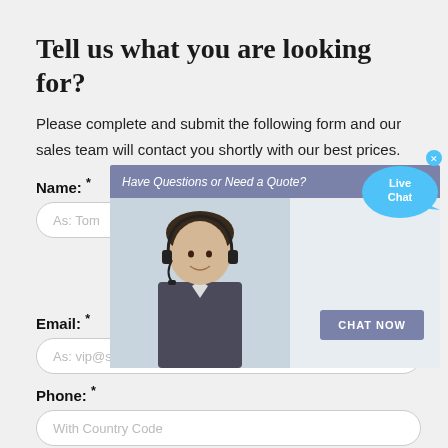Tell us what you are looking for?
Please complete and submit the following form and our sales team will contact you shortly with our best prices.
Name: *
As: Tom
[Figure (screenshot): Live chat popup overlay with 'Have Questions or Need a Quote?' header bar, image of customer service agent, and 'CHAT NOW' button. A 'Live Chat' speech bubble appears in the top right corner.]
Email: *
As: vip@shanghaimeilan.com
Phone: *
With Country Code
The Location of the Project